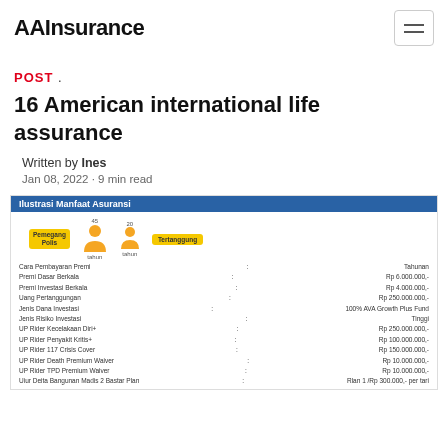AAInsurance
POST .
16 American international life assurance
Written by Ines
Jan 08, 2022 · 9 min read
[Figure (infographic): Ilustrasi Manfaat Asuransi infographic showing Pemegang Polis (45 tahun) and Tertanggung (20 tahun) with policy details including Cara Pembayaran Premi: Tahunan, Premi Dasar Berkala: Rp 6.000.000,-, Premi Investasi Berkala: Rp 4.000.000,-, Uang Pertanggungan: Rp 250.000.000,-, Jenis Dana Investasi: 100% AVA Growth Plus Fund, Jenis Risiko Investasi: Tinggi, UP Rider Kecelakaan Diri+: Rp 250.000.000,-, UP Rider Penyakit Kritis+: Rp 100.000.000,-, UP Rider 117 Crisis Cover: Rp 150.000.000,-, UP Rider Death Premium Waiver: Rp 10.000.000,-, UP Rider TPD Premium Waiver: Rp 10.000.000,-]